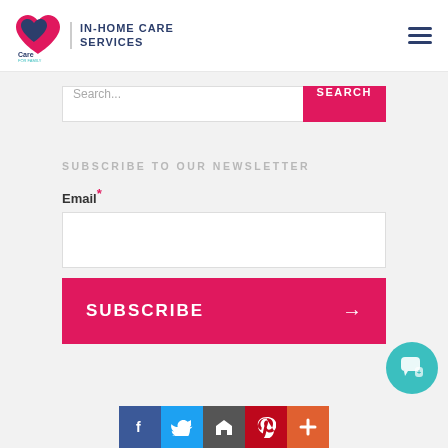[Figure (logo): Care for Family In-Home Care Services logo with pink heart icon and navigation hamburger menu]
Search...
SUBSCRIBE TO OUR NEWSLETTER
Email*
[Figure (other): Subscribe button with arrow and social media icons bar (Facebook, Twitter, Home, Pinterest, Plus)]